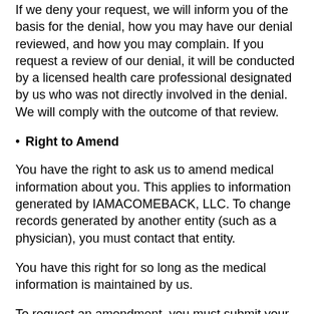If we deny your request, we will inform you of the basis for the denial, how you may have our denial reviewed, and how you may complain. If you request a review of our denial, it will be conducted by a licensed health care professional designated by us who was not directly involved in the denial. We will comply with the outcome of that review.
Right to Amend
You have the right to ask us to amend medical information about you. This applies to information generated by IAMACOMEBACK, LLC. To change records generated by another entity (such as a physician), you must contact that entity.
You have this right for so long as the medical information is maintained by us.
To request an amendment, you must submit your request in writing to IAMACOMEBACK, LLC, 7810 Goldenview Circle, Amarillo, TX 79119. Your request must state the amendment desired and provide a reason in support of that amendment.